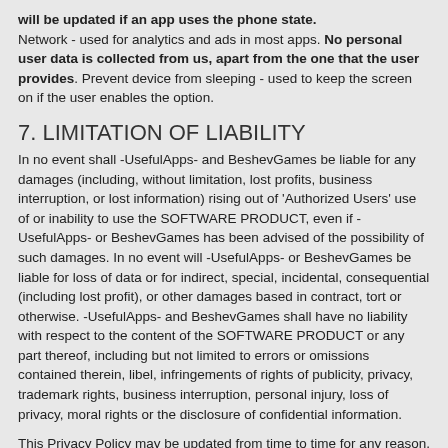will be updated if an app uses the phone state. Network - used for analytics and ads in most apps. No personal user data is collected from us, apart from the one that the user provides. Prevent device from sleeping - used to keep the screen on if the user enables the option.
7. LIMITATION OF LIABILITY
In no event shall -UsefulApps- and BeshevGames be liable for any damages (including, without limitation, lost profits, business interruption, or lost information) rising out of 'Authorized Users' use of or inability to use the SOFTWARE PRODUCT, even if -UsefulApps- or BeshevGames has been advised of the possibility of such damages. In no event will -UsefulApps- or BeshevGames be liable for loss of data or for indirect, special, incidental, consequential (including lost profit), or other damages based in contract, tort or otherwise. -UsefulApps- and BeshevGames shall have no liability with respect to the content of the SOFTWARE PRODUCT or any part thereof, including but not limited to errors or omissions contained therein, libel, infringements of rights of publicity, privacy, trademark rights, business interruption, personal injury, loss of privacy, moral rights or the disclosure of confidential information.
This Privacy Policy may be updated from time to time for any reason. Your continued use of the Apps and Services following the posting of changes will mean you accept those changes.
8. WE USE ONLY ONE PRIVACY SHIELD CERTIFIED PROVIDER